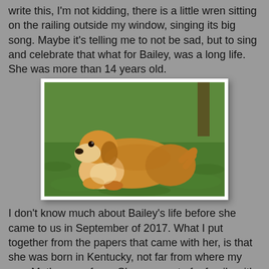write this, I'm not kidding, there is a little wren sitting on the railing outside my window, singing its big song. Maybe it's telling me to not be sad, but to sing and celebrate that what for Bailey, was a long life.  She was more than 14 years old.
[Figure (photo): A golden retriever dog lying on green grass, looking toward the camera, with trees in the background.]
I don't know much about Bailey's life before she came to us in September of 2017. What I put together from the papers that came with her, is that she was born in Kentucky, not far from where my own Mother was from. She was part of a family with 2 children and the husband was in the military and was stationed in Germany, where she lived too. Somewhere her life changed and there was a divorce. Bailey lived with the husband, and several other dogs until her owner died.